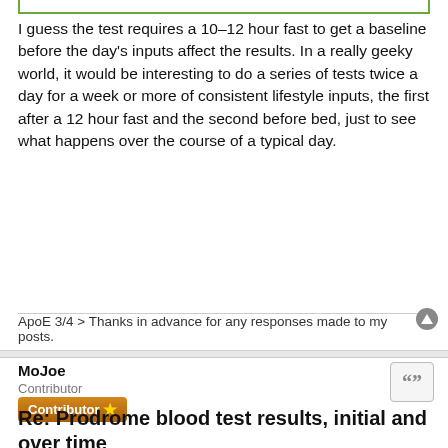I guess the test requires a 10–12 hour fast to get a baseline before the day's inputs affect the results. In a really geeky world, it would be interesting to do a series of tests twice a day for a week or more of consistent lifestyle inputs, the first after a 12 hour fast and the second before bed, just to see what happens over the course of a typical day.
ApoE 3/4 > Thanks in advance for any responses made to my posts.
MoJoe
Contributor
Contributor
Re: Prodrome blood test results, initial and over time
Fri May 13, 2022 3:56 pm
With Respect I disagree with the uptake of p;asmalogens. I will quote from two articles.
From "Plasmalogens Eliminate Aging-Associated